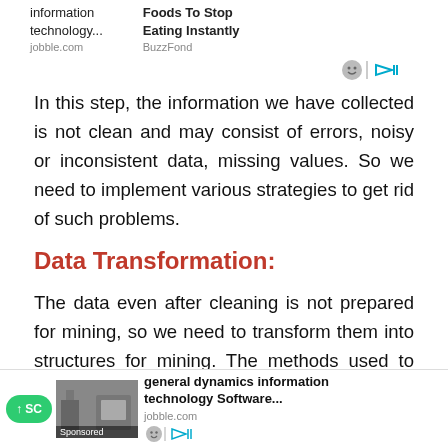[Figure (other): Advertisement bar with two ads: 'information technology...' from jobble.com and 'Foods To Stop Eating Instantly' from BuzzFond, with ad icons]
In this step, the information we have collected is not clean and may consist of errors, noisy or inconsistent data, missing values. So we need to implement various strategies to get rid of such problems.
Data Transformation:
The data even after cleaning is not prepared for mining, so we need to transform them into structures for mining. The methods used to achieve this are... normalization, smoothing, etc
[Figure (other): Bottom advertisement bar with scroll-to-top button, sponsored image, and 'general dynamics information technology Software...' ad from jobble.com with ad icons]